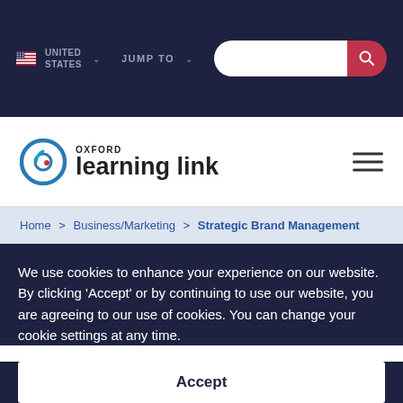UNITED STATES | JUMP TO
[Figure (logo): Oxford Learning Link logo with circular icon and text]
Home > Business/Marketing > Strategic Brand Management
We use cookies to enhance your experience on our website. By clicking 'Accept' or by continuing to use our website, you are agreeing to our use of cookies. You can change your cookie settings at any time.
Accept
Find out more